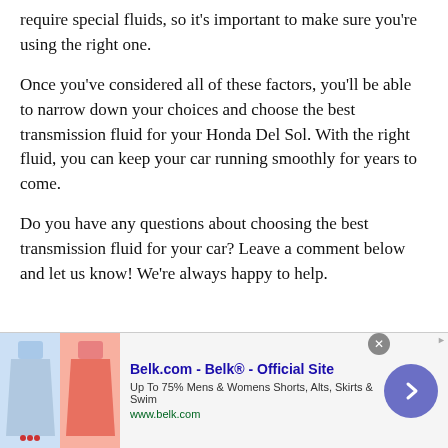require special fluids, so it's important to make sure you're using the right one.
Once you've considered all of these factors, you'll be able to narrow down your choices and choose the best transmission fluid for your Honda Del Sol. With the right fluid, you can keep your car running smoothly for years to come.
Do you have any questions about choosing the best transmission fluid for your car? Leave a comment below and let us know! We're always happy to help.
[Figure (other): Report Content button (blue) and an advertisement for Belk.com showing women's clothing items.]